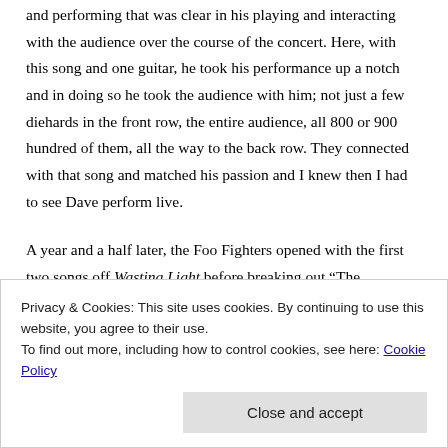and performing that was clear in his playing and interacting with the audience over the course of the concert. Here, with this song and one guitar, he took his performance up a notch and in doing so he took the audience with him; not just a few diehards in the front row, the entire audience, all 800 or 900 hundred of them, all the way to the back row. They connected with that song and matched his passion and I knew then I had to see Dave perform live.
A year and a half later, the Foo Fighters opened with the first two songs off Wasting Light before breaking out “The Pretender,” “My Hero,” and “Learn to Fly,” with Dave leaving the main stage to move into an
Privacy & Cookies: This site uses cookies. By continuing to use this website, you agree to their use.
To find out more, including how to control cookies, see here: Cookie Policy
Close and accept
taunting the audience by explaining the band was